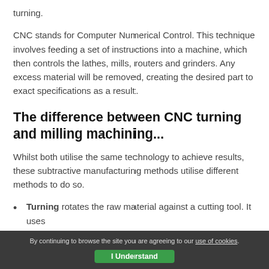turning.
CNC stands for Computer Numerical Control. This technique involves feeding a set of instructions into a machine, which then controls the lathes, mills, routers and grinders. Any excess material will be removed, creating the desired part to exact specifications as a result.
The difference between CNC turning and milling machining...
Whilst both utilise the same technology to achieve results, these subtractive manufacturing methods utilise different methods to do so.
Turning rotates the raw material against a cutting tool. It uses
By continuing to browse the site you are agreeing to our use of cookies. I Understand